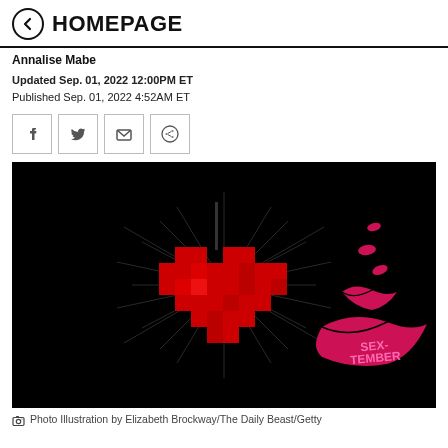← HOMEPAGE
Annalise Mabe
Updated Sep. 01, 2022 12:00PM ET
Published Sep. 01, 2022 4:52AM ET
[Figure (illustration): Pixel art red heart with radiating lines on black background, with pink lip/kiss marks and 'SEX-TEMBER' text on the right side]
Photo Illustration by Elizabeth Brockway/The Daily Beast/Getty